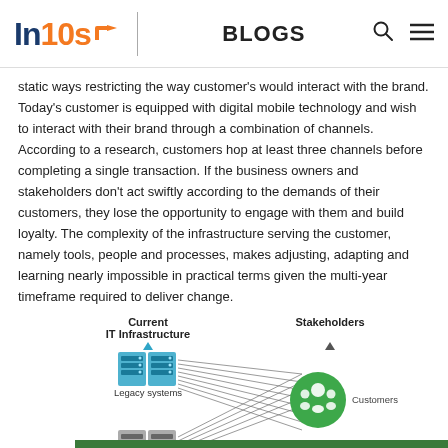In10s BLOGS
static ways restricting the way customer's would interact with the brand. Today's customer is equipped with digital mobile technology and wish to interact with their brand through a combination of channels. According to a research, customers hop at least three channels before completing a single transaction. If the business owners and stakeholders don't act swiftly according to the demands of their customers, they lose the opportunity to engage with them and build loyalty. The complexity of the infrastructure serving the customer, namely tools, people and processes, makes adjusting, adapting and learning nearly impossible in practical terms given the multi-year timeframe required to deliver change.
[Figure (infographic): Diagram showing Current IT Infrastructure (Legacy systems with server icons) on left connected by multiple lines to Stakeholders (Customers with green circle icon) on right. A green 'Leave a message' chat bar appears at the bottom.]